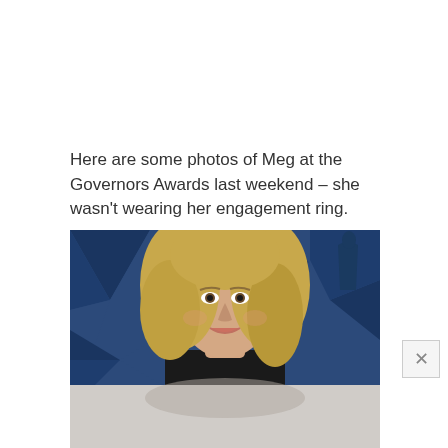Here are some photos of Meg at the Governors Awards last weekend – she wasn't wearing her engagement ring.
[Figure (photo): A blonde woman smiling in front of a blue and dark blue geometric triangle pattern backdrop (Governors Awards red carpet background). She is wearing a black sleeveless top.]